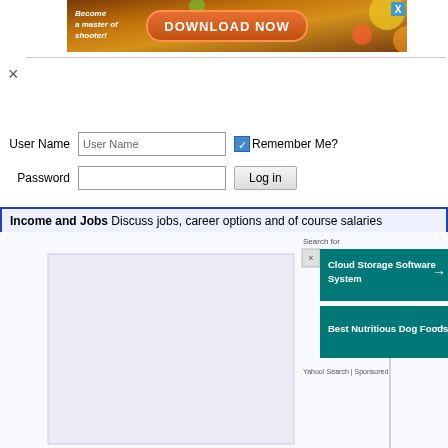[Figure (screenshot): Advertisement banner: 'Become a master of shooter! DOWNLOAD NOW' with orange button and colorful game graphics, close X button top right]
×
User Name   [User Name input]   ☑ Remember Me?
Password   [password input]   [Log in button]
Income and Jobs  Discuss jobs, career options and of course salaries
[Figure (screenshot): Bottom area with content panel and right-side sponsored search results panel showing 'Cloud Storage Software System' and 'Best Nutritious Dog Foods' teal buttons, Yahoo Search Sponsored label]